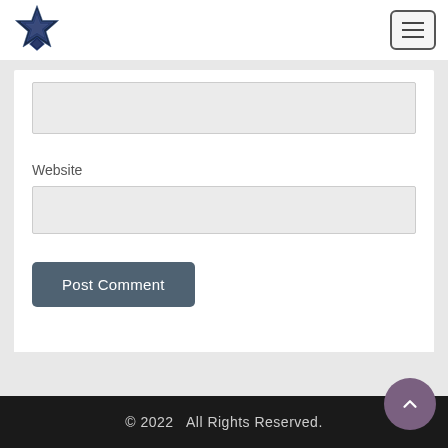[Figure (logo): Star-shaped logo icon in dark blue/navy with gem facets]
[Figure (other): Hamburger menu button (three horizontal lines in a rounded rectangle)]
Website
Post Comment
© 2022   All Rights Reserved.